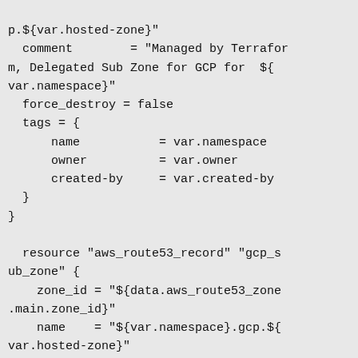p.${var.hosted-zone}"
  comment        = "Managed by Terraform, Delegated Sub Zone for GCP for  ${var.namespace}"
  force_destroy = false
  tags = {
      name           = var.namespace
      owner          = var.owner
      created-by     = var.created-by
  }
}

  resource "aws_route53_record" "gcp_sub_zone" {
    zone_id = "${data.aws_route53_zone.main.zone_id}"
    name    = "${var.namespace}.gcp.${var.hosted-zone}"
    type    = "NS"